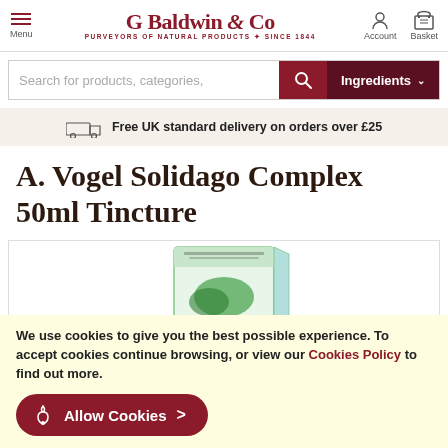[Figure (logo): G Baldwin & Co logo - Purveyors of Natural Products Since 1844]
Search for products, categories,
Ingredients
Free UK standard delivery on orders over £25
A. Vogel Solidago Complex 50ml Tincture
[Figure (photo): A. Vogel Solidago Complex 50ml Tincture product box - green and white packaging]
We use cookies to give you the best possible experience. To accept cookies continue browsing, or view our Cookies Policy to find out more.
Allow Cookies